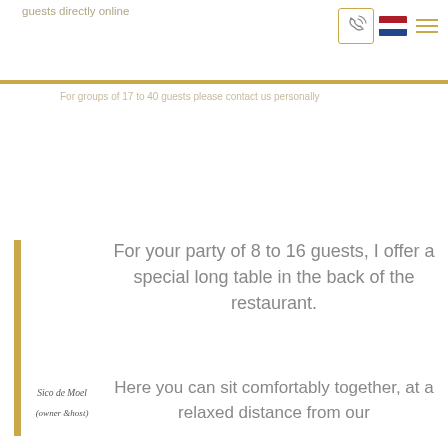guests directly online
For groups of 17 to 40 guests please contact us personally
For your party of 8 to 16 guests, I offer a special long table in the back of the restaurant.
Sico de Moel
(owner & host)
Here you can sit comfortably together, at a relaxed distance from our